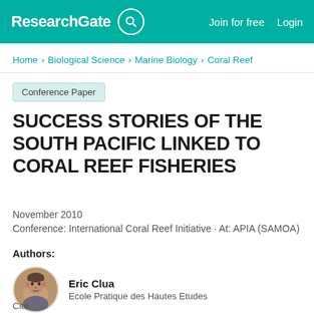ResearchGate  Join for free  Login
Home > Biological Science > Marine Biology > Coral Reef
Conference Paper
SUCCESS STORIES OF THE SOUTH PACIFIC LINKED TO CORAL REEF FISHERIES
November 2010
Conference: International Coral Reef Initiative · At: APIA (SAMOA)
Authors:
Eric Clua
Ecole Pratique des Hautes Etudes
Cite